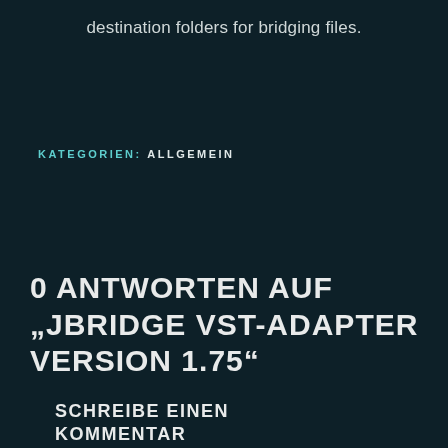destination folders for bridging files.
KATEGORIEN: ALLGEMEIN
0 ANTWORTEN AUF „JBRIDGE VST-ADAPTER VERSION 1.75“
SCHREIBE EINEN KOMMENTAR